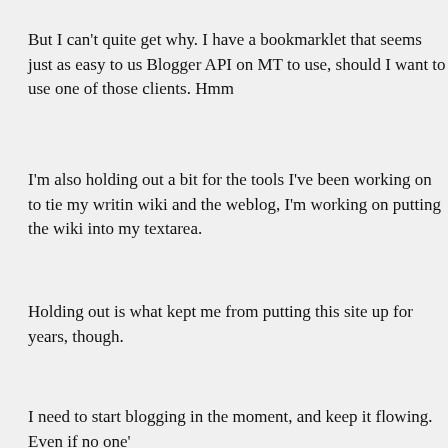But I can't quite get why. I have a bookmarklet that seems just as easy to us Blogger API on MT to use, should I want to use one of those clients. Hmm
I'm also holding out a bit for the tools I've been working on to tie my writin wiki and the weblog, I'm working on putting the wiki into my textarea.
Holding out is what kept me from putting this site up for years, though.
I need to start blogging in the moment, and keep it flowing. Even if no one'